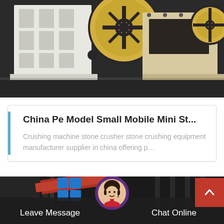[Figure (photo): Large industrial jaw crusher machines in white and beige/yellow color, stored in a factory or warehouse. Heavy machinery with large flywheels visible.]
China Pe Model Small Mobile Mini St…
Crushing machine stone crusher stone crushing equipment manufacturer supplier in china offering p…
[Figure (photo): Footer bar with industrial factory background photo, customer service avatar in purple circle, Leave Message button on left and Chat Online button on right, back-to-top red button.]